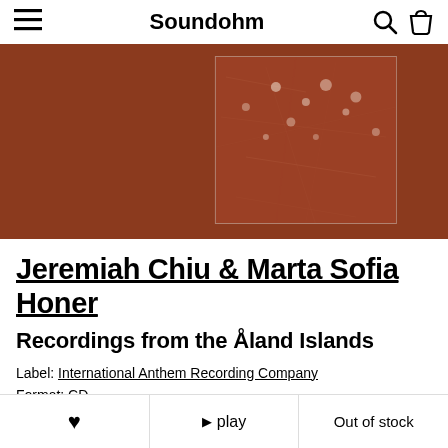Soundohm
[Figure (photo): Album cover art on brown/terracotta background — textured reddish-brown surface with light speckles]
Jeremiah Chiu & Marta Sofia Honer
Recordings from the Åland Islands
Label: International Anthem Recording Company
Format: CD